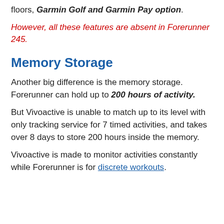floors, Garmin Golf and Garmin Pay option.
However, all these features are absent in Forerunner 245.
Memory Storage
Another big difference is the memory storage. Forerunner can hold up to 200 hours of activity.
But Vivoactive is unable to match up to its level with only tracking service for 7 timed activities, and takes over 8 days to store 200 hours inside the memory.
Vivoactive is made to monitor activities constantly while Forerunner is for discrete workouts.